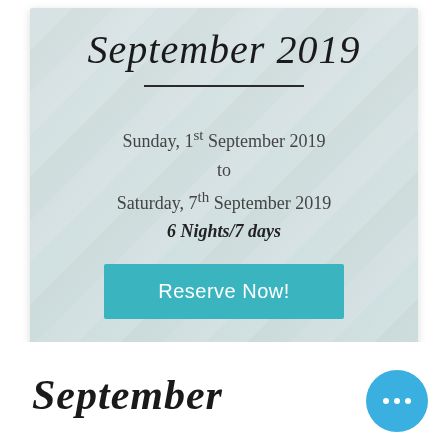September 2019
Sunday, 1st September 2019
to
Saturday, 7th September 2019
6 Nights/7 days
Reserve Now!
September